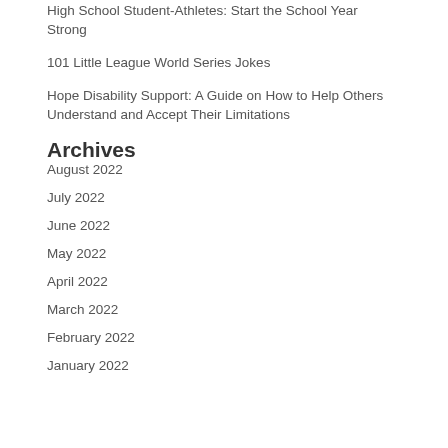High School Student-Athletes: Start the School Year Strong
101 Little League World Series Jokes
Hope Disability Support: A Guide on How to Help Others Understand and Accept Their Limitations
Archives
August 2022
July 2022
June 2022
May 2022
April 2022
March 2022
February 2022
January 2022